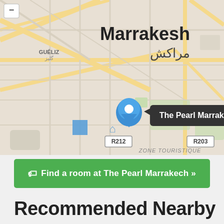[Figure (map): OpenStreetMap of Marrakesh, Morocco, with a blue pin marker labeled 'The Pearl Marrakech'. Map shows streets, districts including GUÉLIZ/گليز and SIDI YOUSSEF BEN A / سيدي يوسف بن علي, road labels R212 and R203, ZONE TOURISTIQUE label, and Arabic text مراكش. A minus zoom control is in the top-left corner. Map background is beige/cream with yellow roads and grey streets.]
Find a room at The Pearl Marrakech »
Recommended Nearby